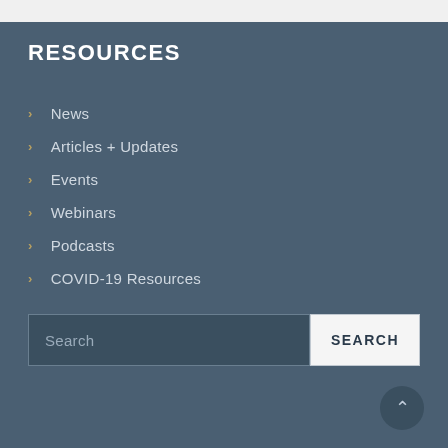RESOURCES
News
Articles + Updates
Events
Webinars
Podcasts
COVID-19 Resources
Search
SEARCH